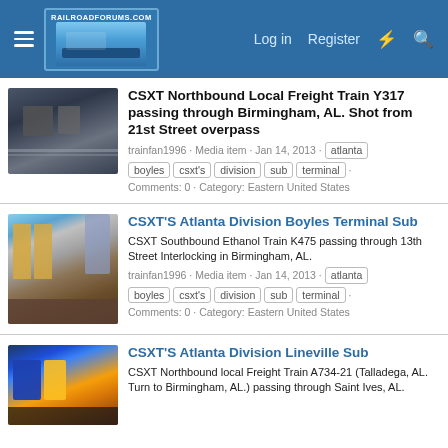RailroadForums.com  Log in  Register
CSXT Northbound Local Freight Train Y317 passing through Birmingham, AL. Shot from 21st Street overpass
trainfan1996 · Media item · Jan 14, 2013 · atlanta boyles csxt's division sub terminal · Comments: 0 · Category: Eastern United States
CSXT'S Atlanta Division Boyles Terminal Sub
CSXT Southbound Ethanol Train K475 passing through 13th Street Interlocking in Birmingham, AL.
trainfan1996 · Media item · Jan 14, 2013 · atlanta boyles csxt's division sub terminal · Comments: 0 · Category: Eastern United States
CSXT'S Atlanta Division Lineville Sub
CSXT Northbound local Freight Train A734-21 (Talladega, AL. Turn to Birmingham, AL.) passing through Saint Ives, AL.